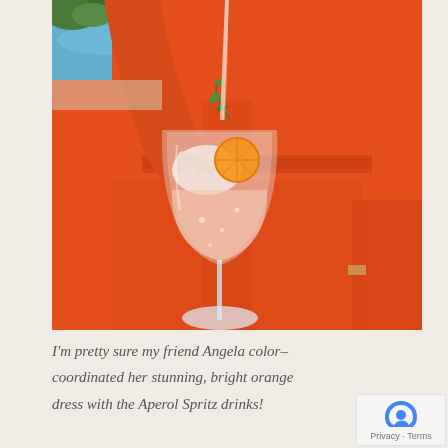[Figure (photo): A person in a bright orange long-sleeved maxi dress holding a large wine glass with a clear cocktail (Aperol Spritz) garnished with an orange slice and herbs. A pool is visible in the background.]
I'm pretty sure my friend Angela color-coordinated her stunning, bright orange dress with the Aperol Spritz drinks!